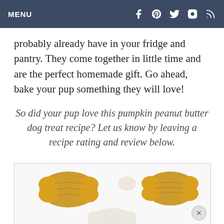MENU
probably already have in your fridge and pantry. They come together in little time and are the perfect homemade gift. Go ahead, bake your pup something they will love!
So did your pup love this pumpkin peanut butter dog treat recipe? Let us know by leaving a recipe rating and review below.
[Figure (photo): Photo of golden/yellow colored bone-shaped dog treats on a white surface]